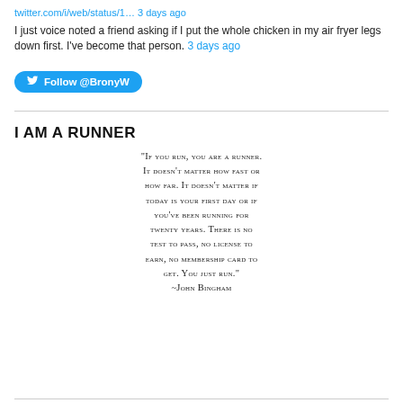twitter.com/i/web/status/1… 3 days ago
I just voice noted a friend asking if I put the whole chicken in my air fryer legs down first. I've become that person. 3 days ago
[Figure (other): Follow @BronyW Twitter follow button]
I AM A RUNNER
"If you run, you are a runner. It doesn't matter how fast or how far. It doesn't matter if today is your first day or if you've been running for twenty years. There is no test to pass, no license to earn, no membership card to get. You just run." ~John Bingham